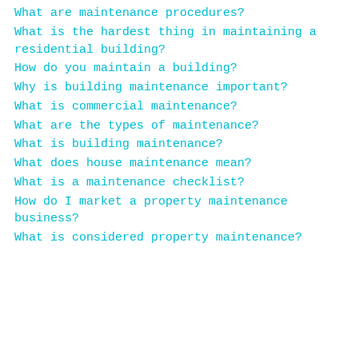What are maintenance procedures?
What is the hardest thing in maintaining a residential building?
How do you maintain a building?
Why is building maintenance important?
What is commercial maintenance?
What are the types of maintenance?
What is building maintenance?
What does house maintenance mean?
What is a maintenance checklist?
How do I market a property maintenance business?
What is considered property maintenance?